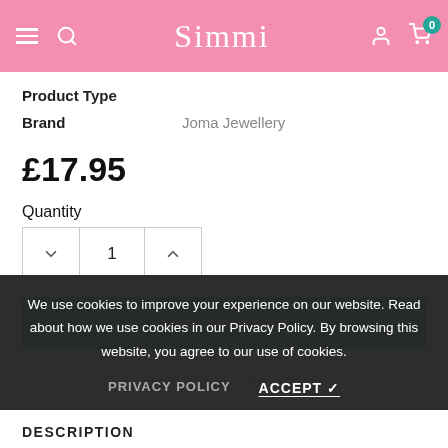Simmi
| Label | Value |
| --- | --- |
| Product Type |  |
| Brand | Joma Jewellery |
£17.95
Quantity
1
ADD TO CART
ADD TO WISH LIST
We use cookies to improve your experience on our website. Read about how we use cookies in our Privacy Policy. By browsing this website, you agree to our use of cookies.
PRIVACY POLICY
ACCEPT ✓
DESCRIPTION